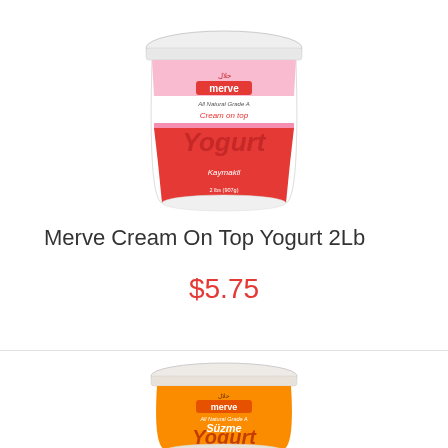[Figure (photo): Merve Cream On Top Yogurt 2Lb container with white lid, pink and red label showing 'merve' brand, 'All Natural Grade A', 'Cream on top Yogurt', 'Kaymakli']
Merve Cream On Top Yogurt 2Lb
$5.75
[Figure (photo): Merve Suzme Yogurt container with white lid, orange label showing 'merve' brand, 'All Natural Grade A', 'Süzme Yogurt', 'Strained']